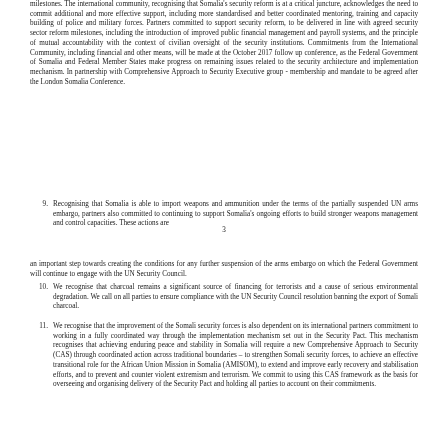milestones. The international community, recognising that Somalia's security reform is at a critical juncture, acknowledges the need to commit additional and more effective support, including more standardised and better coordinated mentoring, training and capacity building of police and military forces. Partners committed to support security reform, to be delivered in line with agreed security sector reform milestones, including the introduction of improved public financial management and payroll systems, and the principle of mutual accountability with the context of civilian oversight of the security institutions. Commitments from the International Community, including financial and other means, will be made at the October 2017 follow up conference, as the Federal Government of Somalia and Federal Member States make progress on remaining issues related to the security architecture and implementation mechanism. In partnership with Comprehensive Approach to Security Executive group - membership and mandate to be agreed after the London Somalia Conference.
9. Recognising that Somalia is able to import weapons and ammunition under the terms of the partially suspended UN arms embargo, partners also committed to continuing to support Somalia's ongoing efforts to build stronger weapons management and control capacities. These actions are
3
an important step towards creating the conditions for any further suspension of the arms embargo on which the Federal Government will continue to engage with the UN Security Council.
10. We recognise that charcoal remains a significant source of financing for terrorists and a cause of serious environmental degradation. We call on all parties to ensure compliance with the UN Security Council resolution banning the export of Somali charcoal.
11. We recognise that the improvement of the Somali security forces is also dependent on its international partners commitment to working in a fully coordinated way through the implementation mechanism set out in the Security Pact. This mechanism recognises that achieving enduring peace and stability in Somalia will require a new Comprehensive Approach to Security (CAS) through coordinated action across traditional boundaries – to strengthen Somali security forces, to achieve an effective transitional role for the African Union Mission in Somalia (AMISOM), to extend and improve early recovery and stabilisation efforts, and to prevent and counter violent extremism and terrorism. We commit to using this CAS framework as the basis for overseeing and organising delivery of the Security Pact and holding all parties to account on their commitments.